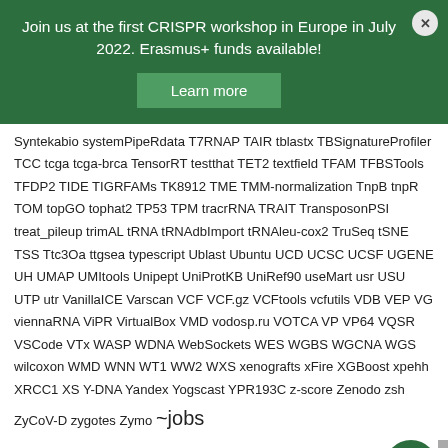Join us at the first CRISPR workshop in Europe in July 2022. Erasmus+ funds available!
Learn more
Syntekabio systemPipeRdata T7RNAP TAIR tblastx TBSignatureProfiler TCC tcga tcga-brca TensorRT testthat TET2 textfield TFAM TFBSTools TFDP2 TIDE TIGRFAMs TK8912 TME TMM-normalization TnpB tnpR TOM topGO tophat2 TP53 TPM tracrRNA TRAIT TransposonPSI treat_pileup trimAL tRNA tRNAdbImport tRNAleu-cox2 TruSeq tSNE TSS Ttc3Oa ttgsea typescript Ublast Ubuntu UCD UCSC UCSF UGENE UH UMAP UMItools Unipept UniProtKB UniRef90 useMart usr USU UTP utr VanillaICE Varscan VCF VCF.gz VCFtools vcfutils VDB VEP VG viennaRNA ViPR VirtualBox VMD vodosp.ru VOTCA VP VP64 VQSR VSCode VTx WASP WDNA WebSockets WES WGBS WGCNA WGS wilcoxon WMD WNN WT1 WW2 WXS xenografts xFire XGBoost xpehh XRCC1 XS Y-DNA Yandex Yogscast YPR193C z-score Zenodo zsh ZyCoV-D zygotes Zymo ~jobs
Categories
Business (195)